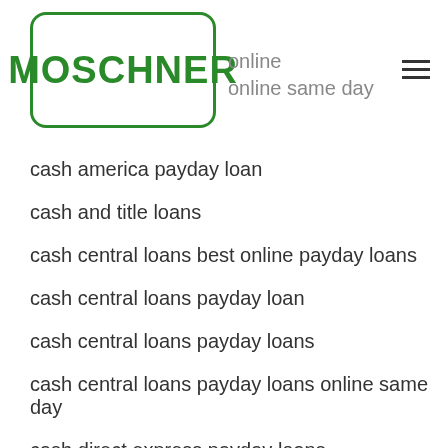[Figure (logo): Moschner logo in green rounded rectangle]
online
online same day
cash america payday loan
cash and title loans
cash central loans best online payday loans
cash central loans payday loan
cash central loans payday loans
cash central loans payday loans online same day
cash direct express payday loans
cash for title loans near me
cash installment loans
cash installment loans near me
cash loans for car title
cash net usa loans best online payday loans